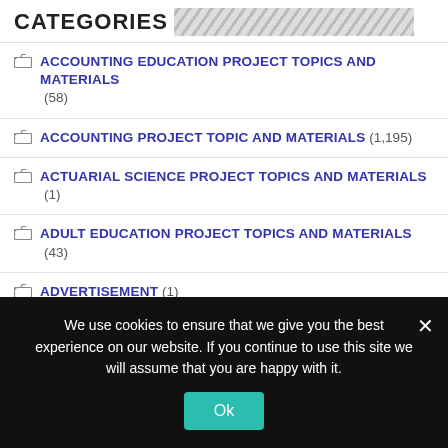CATEGORIES
ACCOUNTING EDUCATION PROJECT TOPICS AND MATERIALS (58)
ACCOUNTING PROJECT TOPIC AND MATERIALS (1,195)
ACTUARIAL SCIENCE PROJECT TOPICS AND MATERIALS (1)
ADULT EDUCATION PROJECT TOPICS AND MATERIALS (43)
ADVERTISEMENT (1)
AFRICAN LANGUAGES PROJECT TOPICS AND MATERIALS (7)
AGRICULTURAL ENGINEERING PROJECT TOPICS AND MATERIALS (63)
AGRICULTURAL EXTENSION PROJECT TOPICS AND MATERIALS (165)
We use cookies to ensure that we give you the best experience on our website. If you continue to use this site we will assume that you are happy with it.